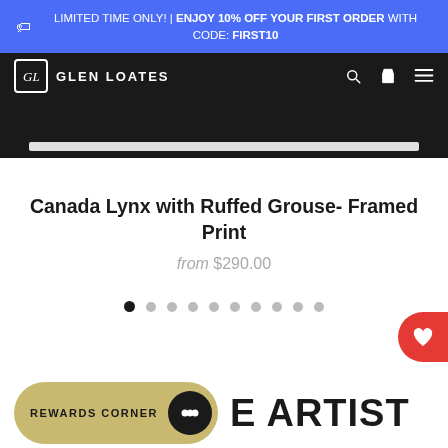LIMITED TIME ONLY! | ENJOY 10% OFF YOUR FIRST ORDER WITH CODE: FIRST10
GLEN LOATES
[Figure (screenshot): Product image placeholder area with white bar on dark background]
Canada Lynx with Ruffed Grouse- Framed Print
from $290.00
[Figure (infographic): Carousel navigation dots, 10 dots total, first one active (filled black), rest grey]
REWARDS CORNER
E ARTIST